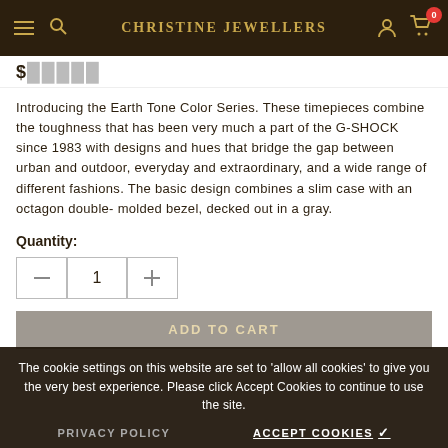Christine Jewellers
$ (price partially visible)
Introducing the Earth Tone Color Series. These timepieces combine the toughness that has been very much a part of the G-SHOCK since 1983 with designs and hues that bridge the gap between urban and outdoor, everyday and extraordinary, and a wide range of different fashions. The basic design combines a slim case with an octagon double- molded bezel, decked out in a gray.
Quantity:
The cookie settings on this website are set to 'allow all cookies' to give you the very best experience. Please click Accept Cookies to continue to use the site.
PRIVACY POLICY
ACCEPT COOKIES ✓